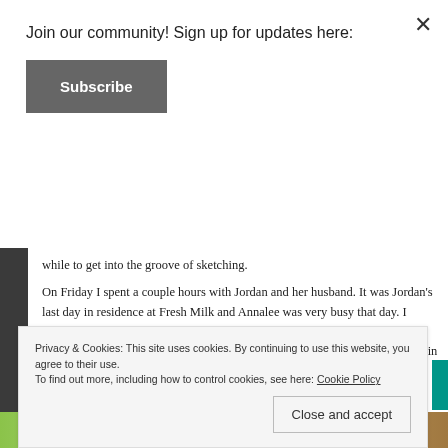Join our community! Sign up for updates here:
Subscribe
while to get into the groove of sketching.
On Friday I spent a couple hours with Jordan and her husband. It was Jordan’s last day in residence at Fresh Milk and Annalee was very busy that day. I found myself alone in the afternoon. The rain poured as if to complement my mood. I will miss Jordan’s presence in the space. While sitting alone looking in the mirror, reflecting on the week...
Privacy & Cookies: This site uses cookies. By continuing to use this website, you agree to their use.
To find out more, including how to control cookies, see here: Cookie Policy
Close and accept